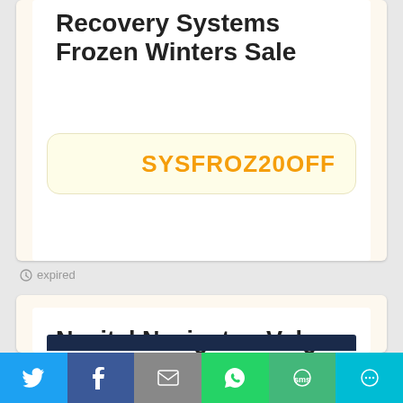Recovery Systems Frozen Winters Sale
SYSFROZ20OFF
expired
Navitel Navigator. Volga Federal district of Russia